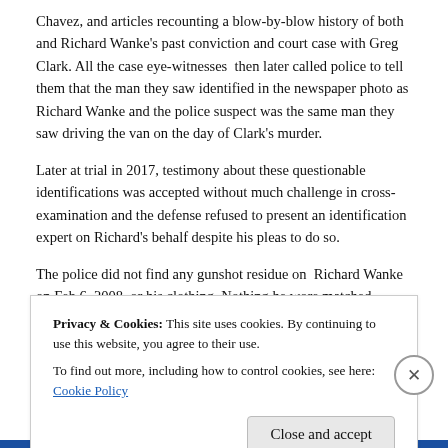Chavez, and articles recounting a blow-by-blow history of both and Richard Wanke's past conviction and court case with Greg Clark. All the case eye-witnesses  then later called police to tell them that the man they saw identified in the newspaper photo as Richard Wanke and the police suspect was the same man they saw driving the van on the day of Clark's murder.
Later at trial in 2017, testimony about these questionable identifications was accepted without much challenge in cross-examination and the defense refused to present an identification expert on Richard's behalf despite his pleas to do so.
The police did not find any gunshot residue on  Richard Wanke on Feb 6, 2008, or his clothing. Nothing he wore matched anything witnesses
Privacy & Cookies: This site uses cookies. By continuing to use this website, you agree to their use.
To find out more, including how to control cookies, see here: Cookie Policy